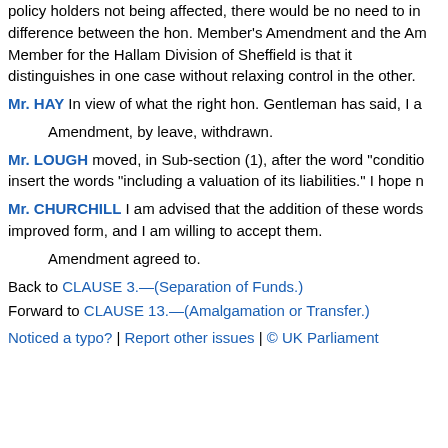policy holders not being affected, there would be no need to in difference between the hon. Member's Amendment and the Am Member for the Hallam Division of Sheffield is that it distinguishes in one case without relaxing control in the other.
Mr. HAY In view of what the right hon. Gentleman has said, I a
Amendment, by leave, withdrawn.
Mr. LOUGH moved, in Sub-section (1), after the word "conditio insert the words "including a valuation of its liabilities." I hope n
Mr. CHURCHILL I am advised that the addition of these words improved form, and I am willing to accept them.
Amendment agreed to.
Back to CLAUSE 3.—(Separation of Funds.) Forward to CLAUSE 13.—(Amalgamation or Transfer.)
Noticed a typo? | Report other issues | © UK Parliament